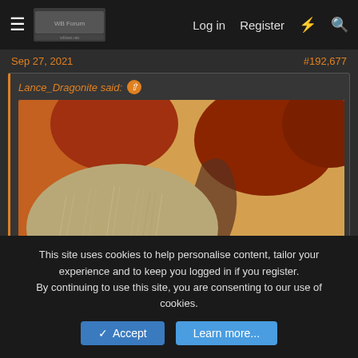≡  [logo]  Log in  Register  ⚡  🔍
Sep 27, 2021   #192,677
Lance_Dragonite said: ↑
[Figure (photo): Close-up image of what appears to be a creature or character face with stringy hair/fur in beige/tan tones against an orange-brown and yellow background. Click to expand... overlay text shown.]
Killer original face.
👍 Joy D, MADS, llama, Kurozumi Lhululu and 2 others
This site uses cookies to help personalise content, tailor your experience and to keep you logged in if you register.
By continuing to use this site, you are consenting to our use of cookies.
✓ Accept   Learn more...